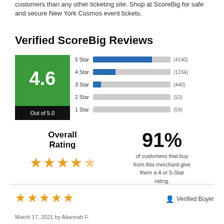customers than any other ticketing site. Shop at ScoreBig for safe and secure New York Cosmos event tickets.
Verified ScoreBig Reviews
[Figure (bar-chart): Star Rating Distribution]
4.6
Out of 5.0
Overall Rating
91%
of customers that buy from this merchant give them a 4 or 5-Star rating.
Verified Buyer
March 17, 2021 by Aliannah F.